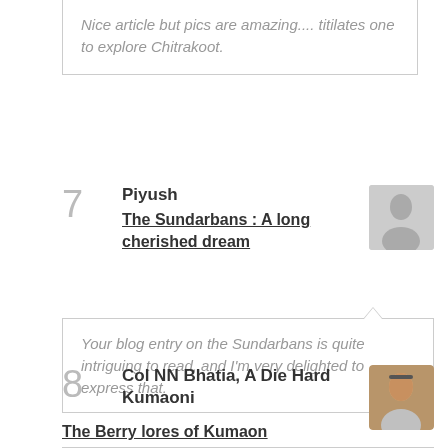Nice article but pics are amazing.... titilates one to explore Chitrakoot.
7  Piyush  The Sundarbans : A long cherished dream
Your blog entry on the Sundarbans is quite intriguing to read, and I'm very delighted to express that.
8  Col NN Bhatia, A Die Hard Kumaoni  The Berry lores of Kumaon